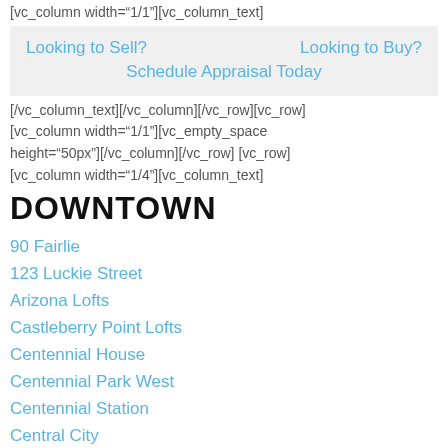[vc_column width="1/1"][vc_column_text]
Looking to Sell?   Looking to Buy?   Schedule Appraisal Today
[/vc_column_text][/vc_column][/vc_row][vc_row][vc_column width="1/1"][vc_empty_space height="50px"][/vc_column][/vc_row] [vc_row][vc_column width="1/4"][vc_column_text]
DOWNTOWN
90 Fairlie
123 Luckie Street
Arizona Lofts
Castleberry Point Lofts
Centennial House
Centennial Park West
Centennial Station
Central City
Central Park Lofts
Century Lofts
City Heights